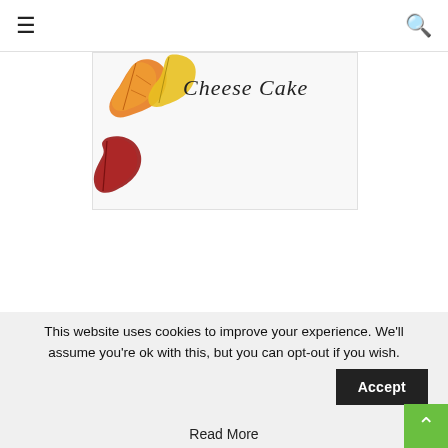≡ [hamburger menu] | [search icon]
[Figure (photo): Partial image of a recipe card or book page showing autumn/fall maple leaves in orange, yellow, and red colors on the left side, with cursive text reading 'Cheese Cake' at the top right.]
This website uses cookies to improve your experience. We'll assume you're ok with this, but you can opt-out if you wish.
Accept
Read More